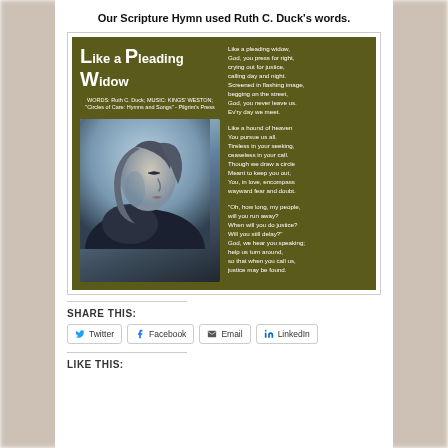Our Scripture Hymn used Ruth C. Duck's words.
[Figure (illustration): A dark olive-green card showing a painting of a woman in profile with the title 'Like a Pleading Widow' and three stanzas of the hymn text. Credits: WORDS: Ruth C. Duck; MUSIC: KINGS' WESTON; 'Circles of Care: Hymns and Songs' - Pilgrim's Press]
SHARE THIS:
Twitter
Facebook
Email
LinkedIn
LIKE THIS: